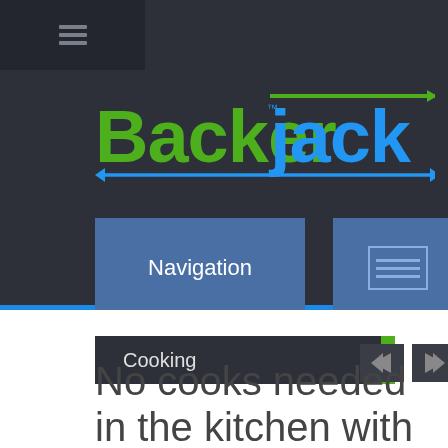[Figure (screenshot): BackerJack website screenshot showing dark header with logo, navigation buttons, a Cooking category bar with arrows, and partial title text.]
No cooks needed in the kitchen with